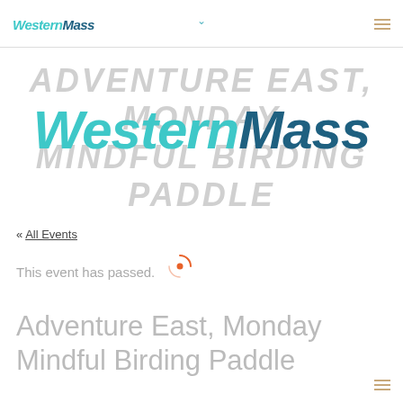WesternMass
[Figure (logo): WesternMass logo large with background text ADVENTURE EAST, MONDAY MINDFUL BIRDING PADDLE in light gray]
« All Events
This event has passed.
Adventure East, Monday Mindful Birding Paddle